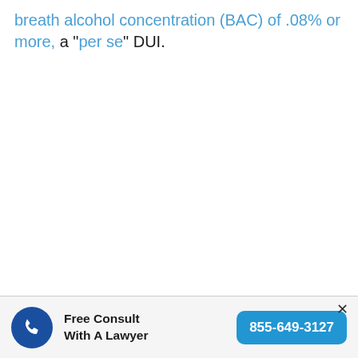breath alcohol concentration (BAC) of .08% or more, a "per se" DUI.
[Figure (infographic): Free consult banner with phone icon, 'Free Consult With A Lawyer' text, and call button '855-649-3127']